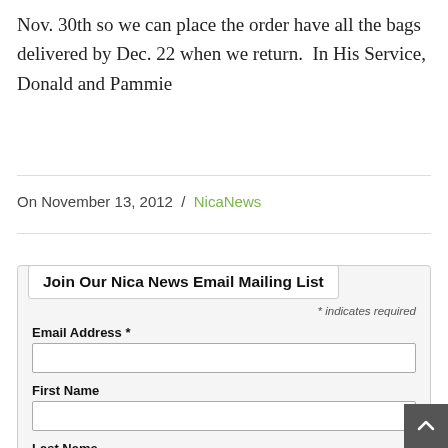Nov. 30th so we can place the order have all the bags delivered by Dec. 22 when we return.  In His Service, Donald and Pammie
On November 13, 2012  /  NicaNews
Join Our Nica News Email Mailing List
* indicates required
Email Address *
First Name
Last Name